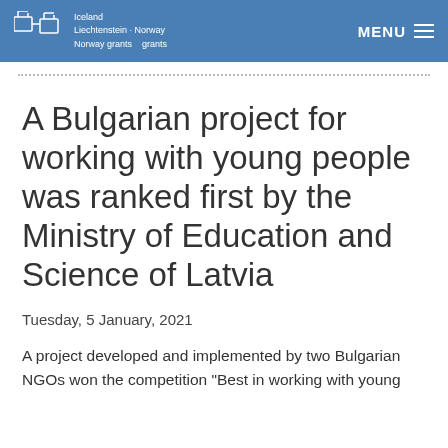Iceland Liechtenstein Norway Norway grants Norway grants | MENU
A Bulgarian project for working with young people was ranked first by the Ministry of Education and Science of Latvia
Tuesday, 5 January, 2021
A project developed and implemented by two Bulgarian NGOs won the competition "Best in working with young